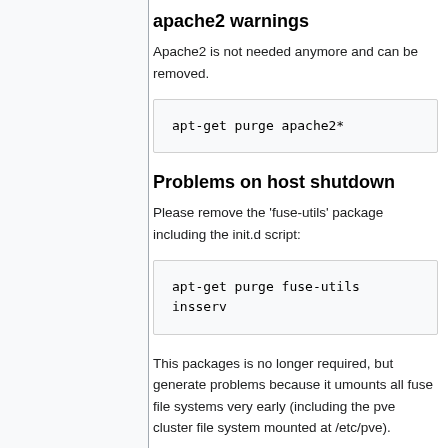apache2 warnings
Apache2 is not needed anymore and can be removed.
apt-get purge apache2*
Problems on host shutdown
Please remove the 'fuse-utils' package including the init.d script:
apt-get purge fuse-utils insserv
This packages is no longer required, but generate problems because it umounts all fuse file systems very early (including the pve cluster file system mounted at /etc/pve).